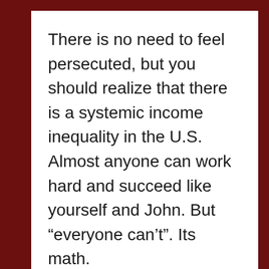There is no need to feel persecuted, but you should realize that there is a systemic income inequality in the U.S. Almost anyone can work hard and succeed like yourself and John. But “everyone can’t”. Its math.
“Four decades ago, the top one percent of earners took home 10.5 percent of the total national